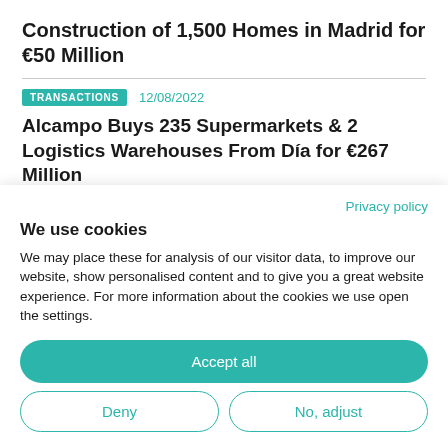Construction of 1,500 Homes in Madrid for €50 Million
TRANSACTIONS   12/08/2022
Alcampo Buys 235 Supermarkets & 2 Logistics Warehouses From Día for €267 Million
[Figure (photo): Dark banner image associated with the article about Alcampo buying supermarkets]
Privacy policy
We use cookies
We may place these for analysis of our visitor data, to improve our website, show personalised content and to give you a great website experience. For more information about the cookies we use open the settings.
Accept all
Deny
No, adjust